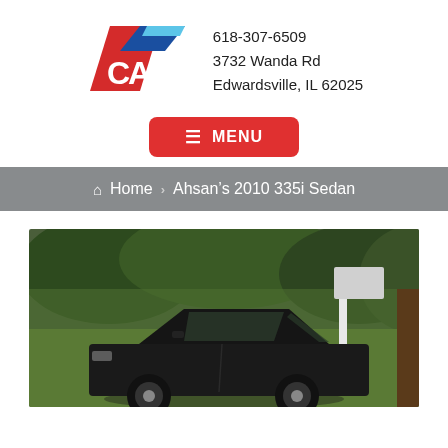[Figure (logo): CA auto shop logo with red and blue diagonal stripe design]
618-307-6509
3732 Wanda Rd
Edwardsville, IL 62025
≡ MENU
🏠 Home › Ahsan's 2010 335i Sedan
[Figure (photo): Photo of a dark/black BMW 335i Sedan parked on grass with trees and greenery in the background]